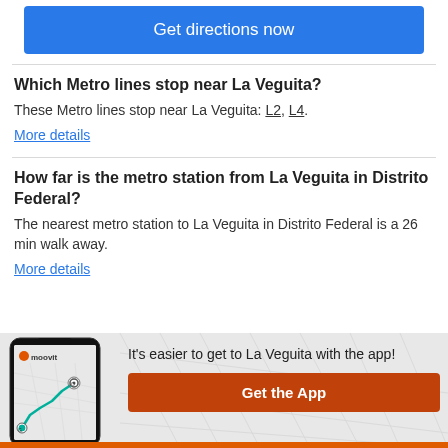Get directions now
Which Metro lines stop near La Veguita?
These Metro lines stop near La Veguita: L2, L4.
More details
How far is the metro station from La Veguita in Distrito Federal?
The nearest metro station to La Veguita in Distrito Federal is a 26 min walk away.
More details
[Figure (screenshot): Moovit app banner with phone illustration showing map and route, with Get the App button]
It's easier to get to La Veguita with the app!
Get the App